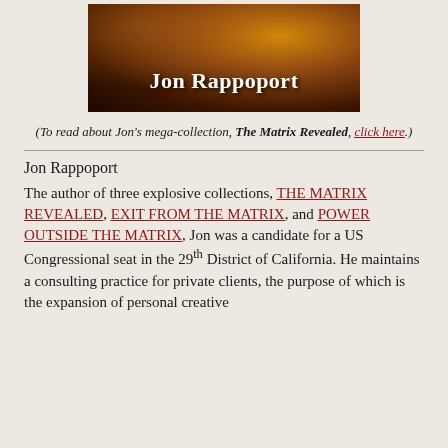[Figure (photo): Dark book cover or banner image with warm amber/brown tones showing the name 'Jon Rappoport' in white bold text at the bottom center]
(To read about Jon's mega-collection, The Matrix Revealed, click here.)
Jon Rappoport
The author of three explosive collections, THE MATRIX REVEALED, EXIT FROM THE MATRIX, and POWER OUTSIDE THE MATRIX, Jon was a candidate for a US Congressional seat in the 29th District of California. He maintains a consulting practice for private clients, the purpose of which is the expansion of personal creative